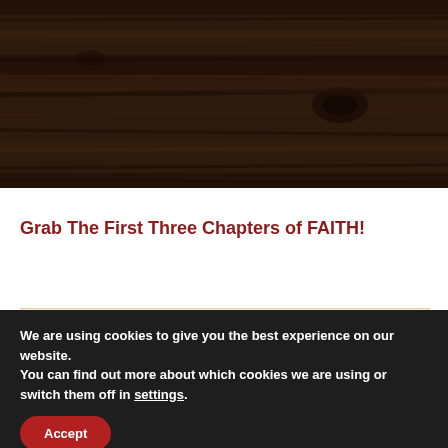[Figure (photo): Dark wood plank texture background image filling the top portion of the page]
Grab The First Three Chapters of FAITH!
We are using cookies to give you the best experience on our website.
You can find out more about which cookies we are using or switch them off in settings.
Accept